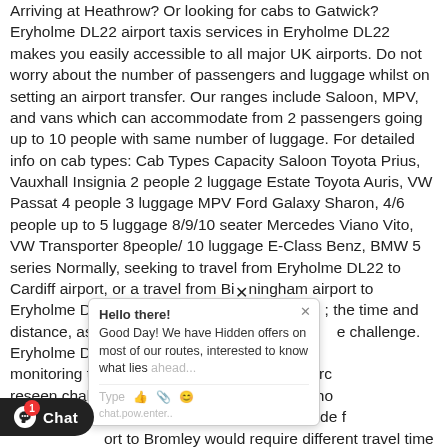Arriving at Heathrow? Or looking for cabs to Gatwick? Eryholme DL22 airport taxis services in Eryholme DL22 makes you easily accessible to all major UK airports. Do not worry about the number of passengers and luggage whilst on setting an airport transfer. Our ranges include Saloon, MPV, and vans which can accommodate from 2 passengers going up to 10 people with same number of luggage. For detailed info on cab types: Cab Types Capacity Saloon Toyota Prius, Vauxhall Insignia 2 people 2 luggage Estate Toyota Auris, VW Passat 4 people 3 luggage MPV Ford Galaxy Sharon, 4/6 people up to 5 luggage 8/9/10 seater Mercedes Viano Vito, VW Transporter 8people/ 10 luggage E-Class Benz, BMW 5 series Normally, seeking to travel from Eryholme DL22 to Cardiff airport, or a travel from Birmingham airport to Eryholme DL22 should be planned ; the time and distance, as congestion and climate change challenge. Eryholme DL22 taxis specialize in tracking and monitoring traffic congestion to ensure to overcome unforeseen challenges. Not all transfers from Eryholme airport will require same time. For instance, a ride from airport to Bromley would require different travel time than from south end airport to Bromley. Our drivers will ensure that they drive you from any of the UK airports to Eryholme DL22 or the other way in fastest route. Airports out of London
[Figure (screenshot): Chat popup overlay with 'Hello there!' greeting, text 'Good Day! We have Hidden offers on most of our routes, interested to know what lies ahead?' and a text input area with emoji/attachment icons and a URL bar showing 'chat.pow.enter..']
[Figure (other): Black chat button in bottom-left with speech bubble icon and 'Chat' label, with red notification badge showing '1']